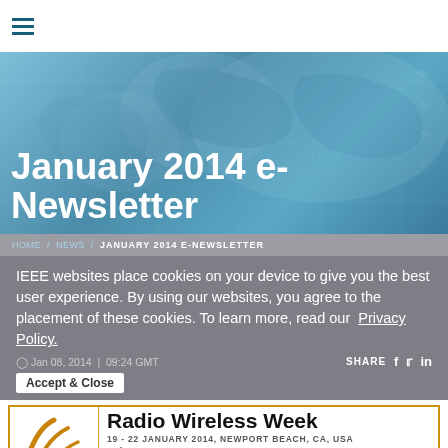[Figure (logo): Hamburger menu icon (three horizontal lines in teal/dark blue)]
[Figure (illustration): World map hero banner with blue tones, globe/grid overlay]
January 2014 e-Newsletter
HOME / NEWS / JANUARY 2014 E-NEWSLETTER
IEEE websites place cookies on your device to give you the best user experience. By using our websites, you agree to the placement of these cookies. To learn more, read our Privacy Policy.
Jan 08, 2014 | 09:24 GMT
SHARE
Accept & Close
[Figure (logo): Radio Wireless Week (RWW) conference banner with RWW logo, IEEE logo, ATT-S logo, dates 19-22 January 2014, Newport Beach, CA, USA, and website URL http://www.radiowirelessweek.org/]